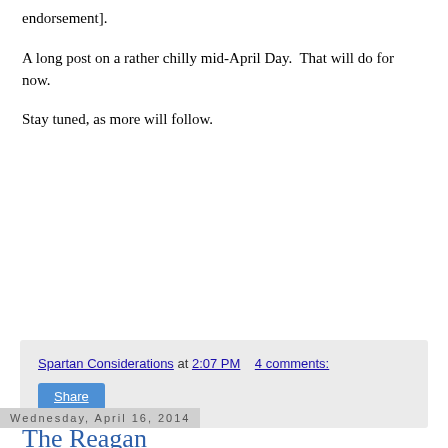endorsement].
A long post on a rather chilly mid-April Day.  That will do for now.
Stay tuned, as more will follow.
Spartan Considerations at 2:07 PM    4 comments:
Wednesday, April 16, 2014
The Reagan